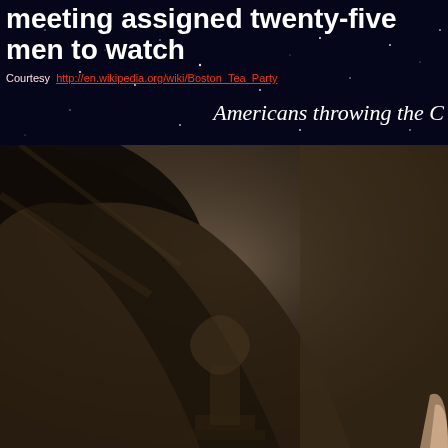meeting assigned twenty-five men to watch
Courtesy  http://en.wikipedia.org/wiki/Boston_Tea_Party
Americans throwing the C
[Figure (photo): Close-up detail of a historical engraving or painting showing a robed figure, likely related to the Boston Tea Party. The image is sepia/dark toned and shows fabric folds and what appears to be architectural ornamental detail beneath.]